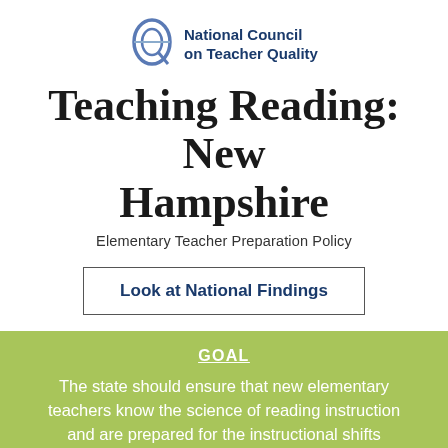[Figure (logo): National Council on Teacher Quality logo — circular emblem with letter Q design in blue/grey tones, alongside organization name in dark blue bold text.]
Teaching Reading: New Hampshire
Elementary Teacher Preparation Policy
Look at National Findings
GOAL
The state should ensure that new elementary teachers know the science of reading instruction and are prepared for the instructional shifts related to literacy associated with college-and career-readiness standards. This goal was